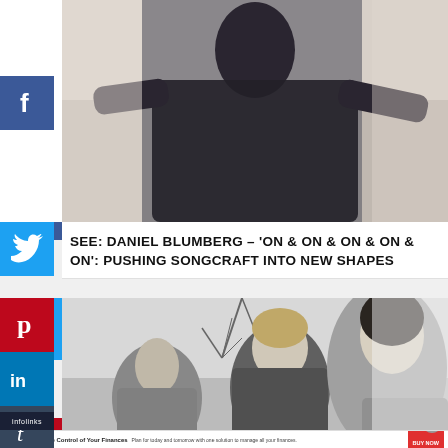[Figure (photo): Top portion of a person in a dark sweater with arms outstretched, black and white / color photo]
SEE: DANIEL BLUMBERG – 'ON & ON & ON & ON & ON': PUSHING SONGCRAFT INTO NEW SHAPES
[Figure (photo): Black and white photo of three people, two men and a woman, outdoors with bare tree branches in background]
[Figure (photo): Advertisement: Quicken – Take Control of Your Finances. Plan for today and tomorrow with one solution to manage all your finances. BUY NOW button.]